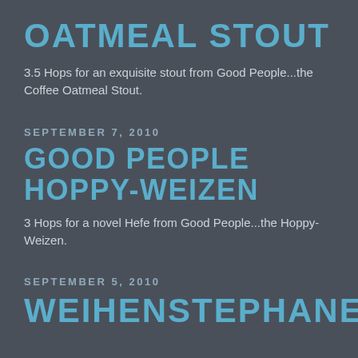OATMEAL STOUT
3.5 Hops for an exquisite stout from Good People...the Coffee Oatmeal Stout.
SEPTEMBER 7, 2010
GOOD PEOPLE HOPPY-WEIZEN
3 Hops for a novel Hefe from Good People...the Hoppy-Weizen.
SEPTEMBER 5, 2010
WEIHENSTEPHANER